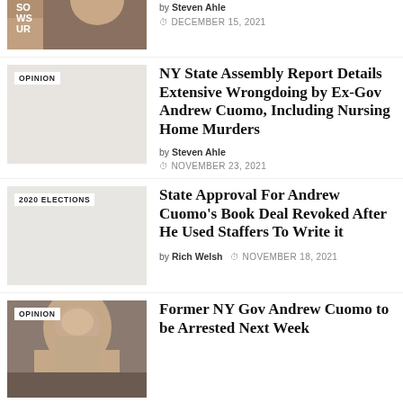by Steven Ahle
DECEMBER 15, 2021
[Figure (photo): Partial photo of a man at top of page, cropped]
OPINION
NY State Assembly Report Details Extensive Wrongdoing by Ex-Gov Andrew Cuomo, Including Nursing Home Murders
by Steven Ahle
NOVEMBER 23, 2021
[Figure (photo): Light grey thumbnail with OPINION tag for second article]
2020 ELECTIONS
State Approval For Andrew Cuomo's Book Deal Revoked After He Used Staffers To Write it
by Rich Welsh
NOVEMBER 18, 2021
[Figure (photo): Light grey thumbnail with 2020 ELECTIONS tag for third article]
OPINION
Former NY Gov Andrew Cuomo to be Arrested Next Week
[Figure (photo): Photo of Andrew Cuomo at bottom of page with OPINION tag]